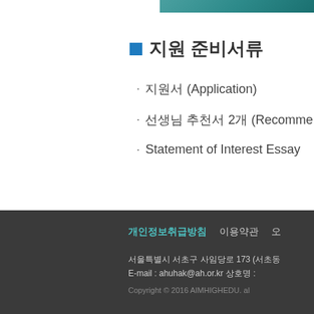[Figure (photo): Decorative image strip at top right of page]
■ 지원 준비서류
• 지원서 (Application)
• 선생님 추천서 2개 (Recomme...
• Statement of Interest Essay
개인정보취급방침  이용약관  오... 서울특별시 서초구 사임당로 173 (서초동... E-mail : ahuhak@ah.or.kr 상호명 :... Copyright © 2016 AIMHIGHEDU. al...